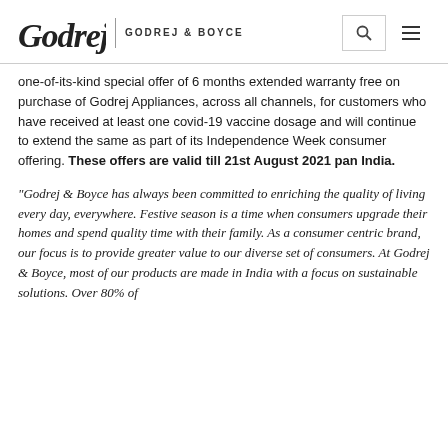Godrej | GODREJ & BOYCE
one-of-its-kind special offer of 6 months extended warranty free on purchase of Godrej Appliances, across all channels, for customers who have received at least one covid-19 vaccine dosage and will continue to extend the same as part of its Independence Week consumer offering. These offers are valid till 21st August 2021 pan India.
“Godrej & Boyce has always been committed to enriching the quality of living every day, everywhere. Festive season is a time when consumers upgrade their homes and spend quality time with their family. As a consumer centric brand, our focus is to provide greater value to our diverse set of consumers. At Godrej & Boyce, most of our products are made in India with a focus on sustainable solutions. Over 80% of...